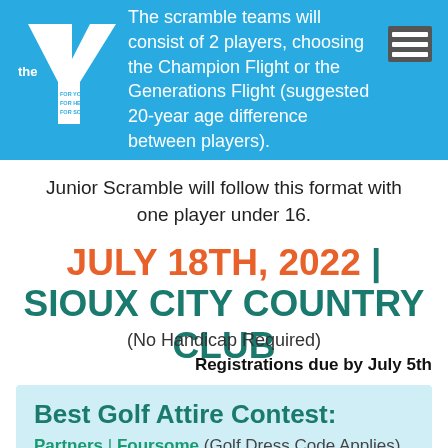The scramble teams will consist of 2 players, choosing the Champion Flight or the Generations Flight (suggested 20-year age difference between players).
Junior Scramble will follow this format with one player under 16.
JULY 18TH, 2022 | SIOUX CITY COUNTRY CLUB
(No Handicap Required)
Registrations due by July 5th
Best Golf Attire Contest:
Partners | Foursome (Golf Dress Code Applies)
Prizes: